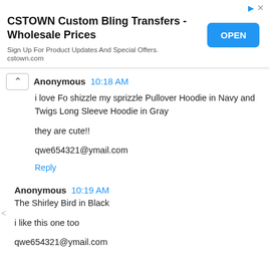[Figure (screenshot): Advertisement banner for CSTOWN Custom Bling Transfers with OPEN button]
Anonymous 10:18 AM
i love Fo shizzle my sprizzle Pullover Hoodie in Navy and Twigs Long Sleeve Hoodie in Gray

they are cute!!

qwe654321@ymail.com
Reply
Anonymous 10:19 AM
The Shirley Bird in Black

i like this one too

qwe654321@ymail.com